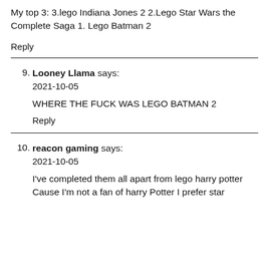My top 3: 3.lego Indiana Jones 2 2.Lego Star Wars the Complete Saga 1. Lego Batman 2
Reply
9. Looney Llama says: 2021-10-05
WHERE THE FUCK WAS LEGO BATMAN 2
Reply
10. reacon gaming says: 2021-10-05
I've completed them all apart from lego harry potter
Cause I'm not a fan of harry Potter I prefer star